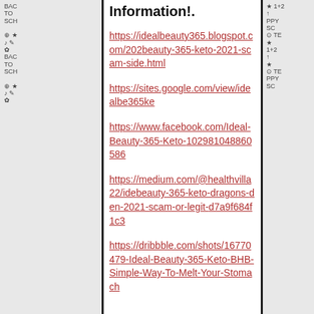Information!.
https://idealbeauty365.blogspot.com/2021/beauty-365-keto-2021-scam-side.html
https://sites.google.com/view/idealbeauty365ke
https://www.facebook.com/Ideal-Beauty-365-Keto-102981048860586
https://medium.com/@healthvilla22/ideal-beauty-365-keto-dragons-den-2021-scam-or-legit-d7a9f684f1c3
https://dribbble.com/shots/16770479-Ideal-Beauty-365-Keto-BHB-Simple-Way-To-Melt-Your-Stomach